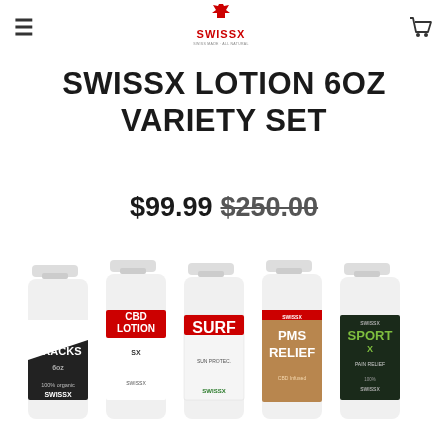≡  SWISSX  🛒
SWISSX LOTION 6OZ VARIETY SET
$99.99 $250.00
[Figure (photo): Five SwissX lotion spray bottles side by side: Cracks, CBD Lotion, Surf, PMS Relief, and SportX Pain Relief varieties]